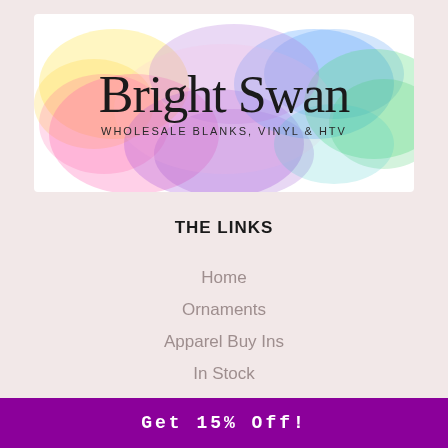[Figure (logo): Bright Swan logo with watercolor splash background in rainbow colors. Text reads 'Bright Swan' in cursive script with 'WHOLESALE BLANKS, VINYL & HTV' below in small caps.]
THE LINKS
Home
Ornaments
Apparel Buy Ins
In Stock
Vinyl & HTV
Get 15% Off!